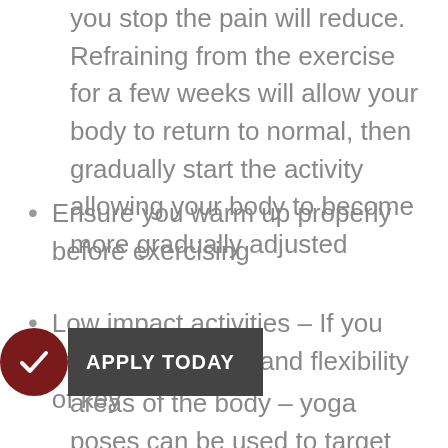you stop the pain will reduce. Refraining from the exercise for a few weeks will allow your body to return to normal, then gradually start the activity allowing your body to become more gradually adjusted
Ensure you warm up properly before exercising
Low impact activities – If you continue to suffer, consider switching to low impact activities (e.g. cross-trainer, swimming, yoga)
Try to lose weight if you are overweight
Increase strength and flexibility of key areas of the body – yoga poses can be used to target improvements in these areas
If this makes your issue position think about
APPLY TODAY